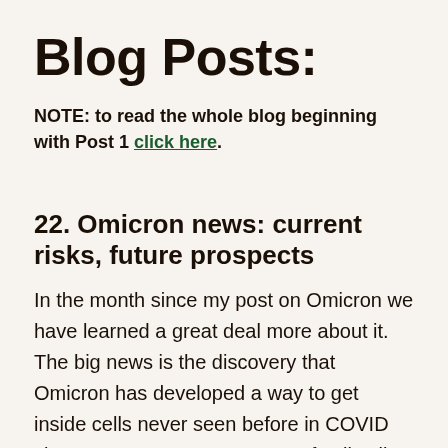Blog Posts:
NOTE: to read the whole blog beginning with Post 1 click here.
22. Omicron news: current risks, future prospects
In the month since my post on Omicron we have learned a great deal more about it. The big news is the discovery that Omicron has developed a way to get inside cells never seen before in COVID viruses. Because some types of cells allow this entry and others don't, the course of the pandemic